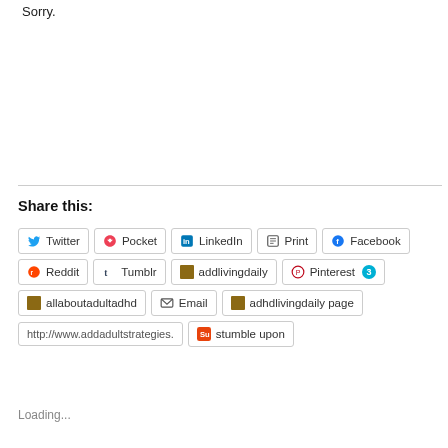Sorry.
Share this:
Twitter  Pocket  LinkedIn  Print  Facebook  Reddit  Tumblr  addlivingdaily  Pinterest 3  allaboutadultadhd  Email  adhdlivingdaily page  http://www.addadultstrategies.  stumble upon
Loading...